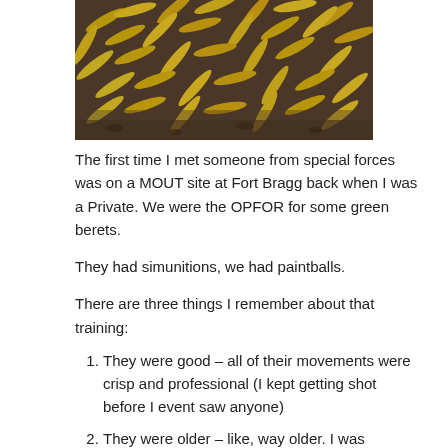[Figure (photo): Close-up photo of many rifle/firearm bullet casings (brass/golden colored) scattered on a dark surface, viewed from above at a slight angle.]
The first time I met someone from special forces was on a MOUT site at Fort Bragg back when I was a Private. We were the OPFOR for some green berets.
They had simunitions, we had paintballs.
There are three things I remember about that training:
They were good – all of their movements were crisp and professional (I kept getting shot before I event saw anyone)
They were older – like, way older. I was probably